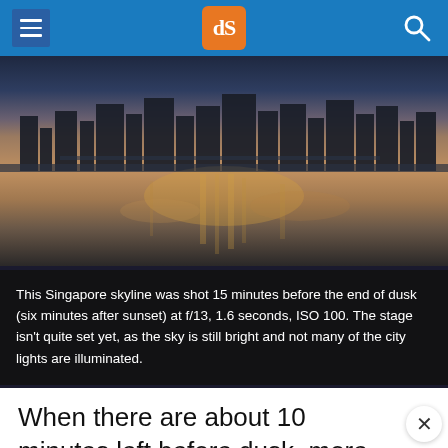dPS (Digital Photography School) navigation header
[Figure (photo): Singapore skyline at dusk reflected in water, with warm orange and golden reflections on the water surface. City buildings silhouetted against a blue-grey twilight sky.]
This Singapore skyline was shot 15 minutes before the end of dusk (six minutes after sunset) at f/13, 1.6 seconds, ISO 100. The stage isn't quite set yet, as the sky is still bright and not many of the city lights are illuminated.
When there are about 10 minutes left before dusk, more city buildings will be lit, and bluish hues start to appear in the sky, setting the...